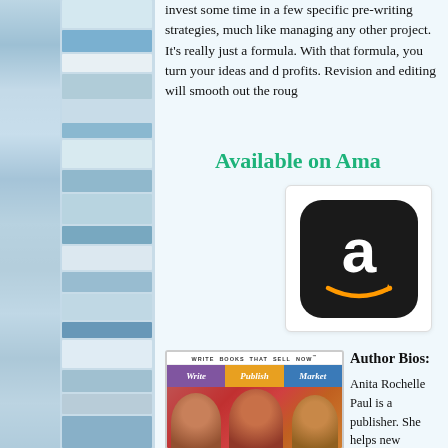invest some time in a few specific pre-writing strategies, much like managing any other project. It's really just a formula. With that formula, you turn your ideas and dreams into profits. Revision and editing will smooth out the rough edges.
Available on Amazon
[Figure (logo): Amazon app icon - black rounded square with white lowercase 'a' and orange smile/arrow underneath]
[Figure (photo): Book cover: Write Books That Sell Now - Write Publish Market, with photo of three smiling women]
Author Bios:
Anita Rochelle Paul is a publisher. She helps new writers publish high-quality, books that don't look self-published.